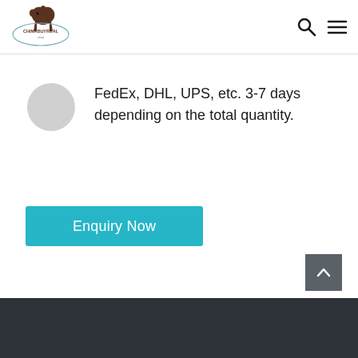[Figure (logo): Chinabuyreal dog logo with text and oval border]
[Figure (illustration): Gray circle icon for shipping]
FedEx, DHL, UPS, etc. 3-7 days depending on the total quantity.
[Figure (other): Enquiry Now button in teal/cyan color]
[Figure (other): Back to top arrow button in dark gray]